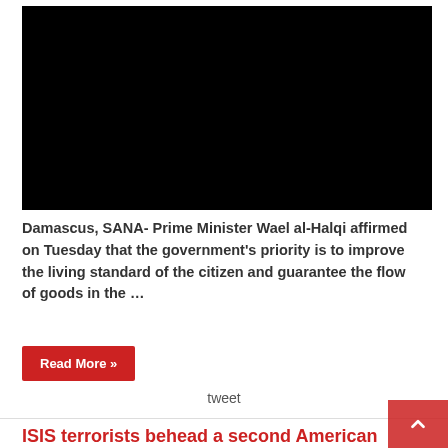[Figure (screenshot): Black video player thumbnail with a small image icon in the top-left corner]
Damascus, SANA- Prime Minister Wael al-Halqi affirmed on Tuesday that the government's priority is to improve the living standard of the citizen and guarantee the flow of goods in the …
Read More »
tweet
ISIS terrorists behead a second American journalist
2 September, 2014